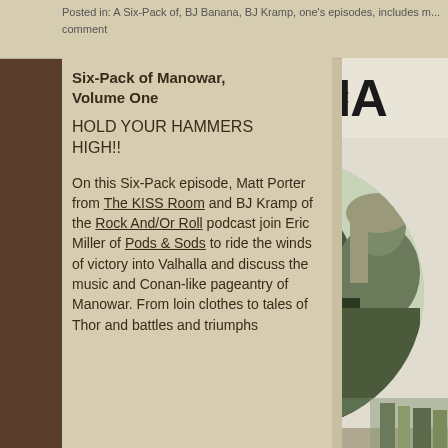Posted in: A Six-Pack of, BJ Banana, BJ Kramp, one's episodes, includes m... comment
Six-Pack of Manowar, Volume One
HOLD YOUR HAMMERS HIGH!!
On this Six-Pack episode, Matt Porter from The KISS Room and BJ Kramp of the Rock And/Or Roll podcast join Eric Miller of Pods & Sods to ride the winds of victory into Valhalla and discuss the music and Conan-like pageantry of Manowar. From loin clothes to tales of Thor and battles and triumphs
[Figure (photo): Album cover for A Six-Pack of Manowar featuring black and white circular photo of Manowar band members with long hair, with large text 'A SIX-PACK OF MA...' at top]